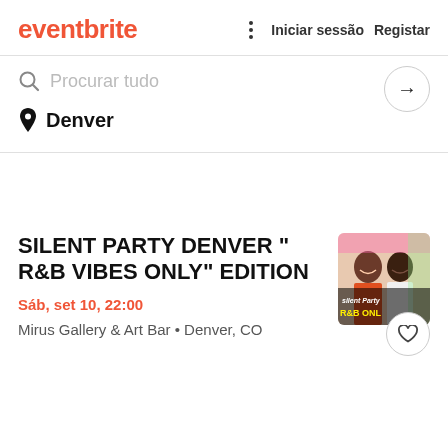eventbrite
Procurar tudo
Denver
SILENT PARTY DENVER " R&B VIBES ONLY" EDITION
Sáb, set 10, 22:00
Mirus Gallery & Art Bar • Denver, CO
[Figure (photo): Photo of two women smiling at a party event, with colorful text overlay reading 'Silent Party R&B ONLY']